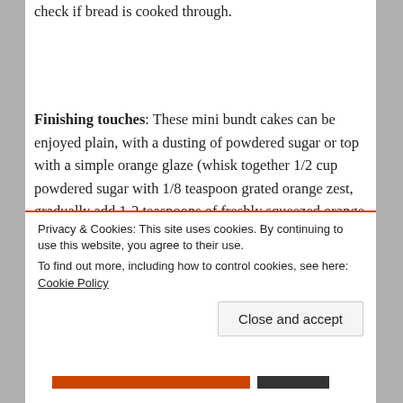check if bread is cooked through.
Finishing touches: These mini bundt cakes can be enjoyed plain, with a dusting of powdered sugar or top with a simple orange glaze (whisk together 1/2 cup powdered sugar with 1/8 teaspoon grated orange zest, gradually add 1-2 teaspoons of freshly squeezed orange juice to
Privacy & Cookies: This site uses cookies. By continuing to use this website, you agree to their use.
To find out more, including how to control cookies, see here: Cookie Policy
Close and accept